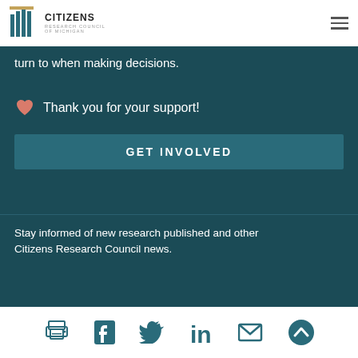Citizens Research Council of Michigan
turn to when making decisions.
Thank you for your support!
GET INVOLVED
Stay informed of new research published and other Citizens Research Council news.
[Figure (other): Social media and share icons: print, Facebook, Twitter, LinkedIn, email, scroll-to-top]